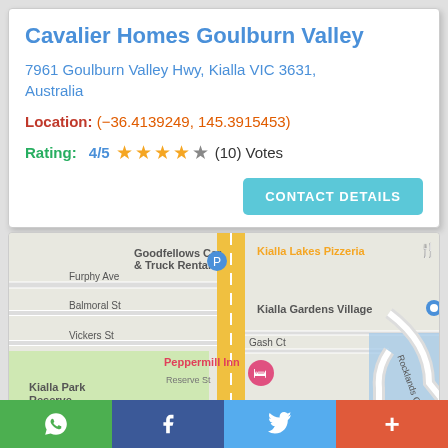Cavalier Homes Goulburn Valley
7961 Goulburn Valley Hwy, Kialla VIC 3631, Australia
Location: (-36.4139249, 145.3915453)
Rating: 4/5 ★★★★☆ (10) Votes
[Figure (map): Google Maps view of Kialla VIC showing Goulburn Valley Hwy, Peppermill Inn, Kialla Park Reserve, Furphy Ave, Balmoral St, Vickers St, Gash Ct, Goodfellows Car & Truck Rentals, Kialla Lakes Pizzeria, Kialla Gardens Village, Rocklands Cres]
WhatsApp | Facebook | Twitter | More (+)